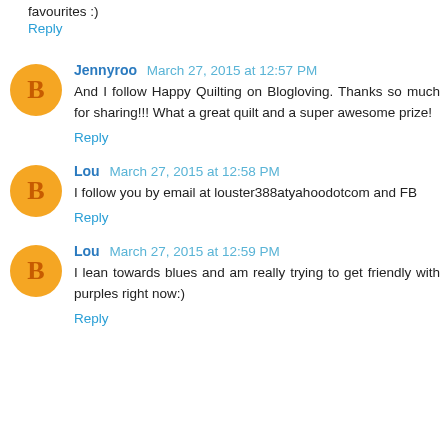favourites :)
Reply
Jennyroo March 27, 2015 at 12:57 PM
And I follow Happy Quilting on Blogloving. Thanks so much for sharing!!! What a great quilt and a super awesome prize!
Reply
Lou March 27, 2015 at 12:58 PM
I follow you by email at louster388atyahoodotcom and FB
Reply
Lou March 27, 2015 at 12:59 PM
I lean towards blues and am really trying to get friendly with purples right now:)
Reply